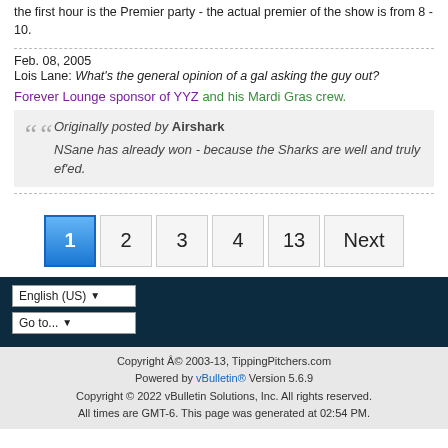the first hour is the Premier party - the actual premier of the show is from 8 - 10.
Feb. 08, 2005
Lois Lane: What's the general opinion of a gal asking the guy out?
Forever Lounge sponsor of YYZ and his Mardi Gras crew.
Originally posted by Airshark
NSane has already won - because the Sharks are well and truly ef'ed.
1 2 3 4 13 Next
English (US)
Go to...
Copyright Â© 2003-13, TippingPitchers.com
Powered by vBulletin® Version 5.6.9
Copyright © 2022 vBulletin Solutions, Inc. All rights reserved.
All times are GMT-6. This page was generated at 02:54 PM.